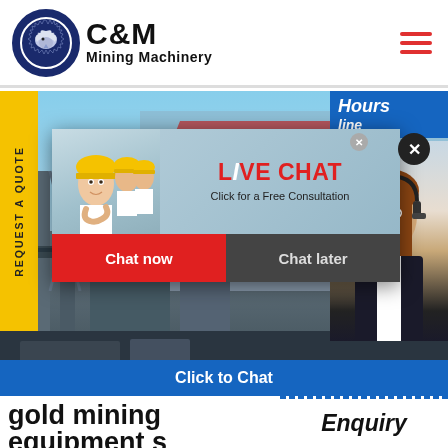[Figure (logo): C&M Mining Machinery logo with eagle inside a gear circle, dark navy blue]
[Figure (screenshot): Website screenshot of C&M Mining Machinery page showing: yellow REQUEST A QUOTE side tab, industrial mining equipment background photo, a live chat popup with workers in hard hats, LIVE CHAT heading in red, Chat now (red) and Chat later (dark) buttons, right panel with Hours Online banner, female agent with headset, Click to Chat blue button, and bottom text 'gold mining equipment s...' and 'Enquiry']
gold mining equipment s
Enquiry